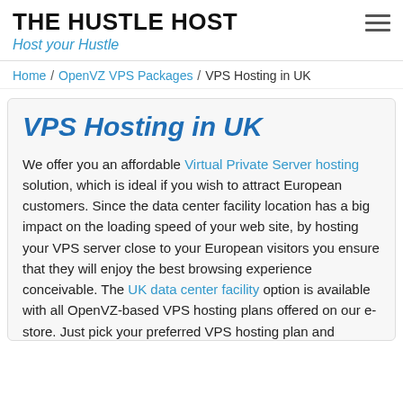THE HUSTLE HOST
Host your Hustle
Home / OpenVZ VPS Packages / VPS Hosting in UK
VPS Hosting in UK
We offer you an affordable Virtual Private Server hosting solution, which is ideal if you wish to attract European customers. Since the data center facility location has a big impact on the loading speed of your web site, by hosting your VPS server close to your European visitors you ensure that they will enjoy the best browsing experience conceivable. The UK data center facility option is available with all OpenVZ-based VPS hosting plans offered on our e-store. Just pick your preferred VPS hosting plan and Operating System and then select the UK data center facility from the drop-down menu. We'll handle the rest for you and will set up the virtual server you have